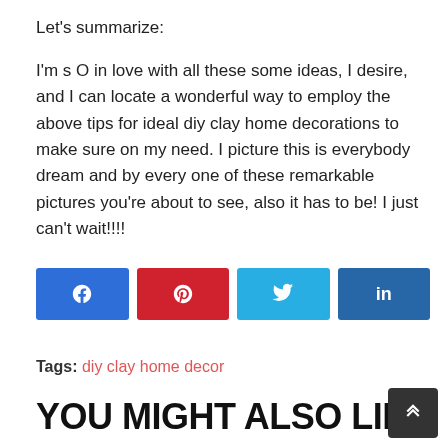Let's summarize:
I'm s O in love with all these some ideas, I desire, and I can locate a wonderful way to employ the above tips for ideal diy clay home decorations to make sure on my need. I picture this is everybody dream and by every one of these remarkable pictures you're about to see, also it has to be! I just can't wait!!!!
[Figure (infographic): Four social share buttons: Facebook (blue), Pinterest (red), Twitter (light blue), LinkedIn (dark blue)]
Tags: diy clay home decor
YOU MIGHT ALSO LIKE